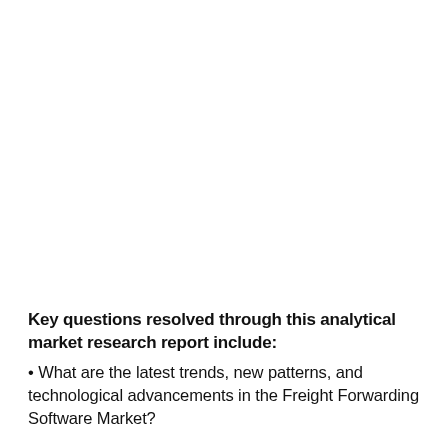Key questions resolved through this analytical market research report include:
• What are the latest trends, new patterns, and technological advancements in the Freight Forwarding Software Market?